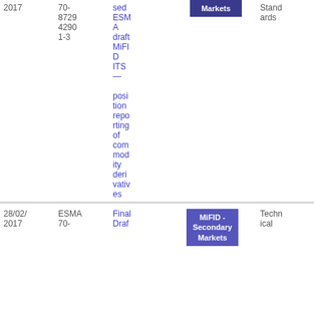| Date | Reference | Title | Topic | Type | Icon | File |
| --- | --- | --- | --- | --- | --- | --- |
| 2017 | 70-87294290 1-3 | Proposed ESMA draft MiFID ITS — position reporting of commodity derivatives | MiFID - Secondary Markets | Technical Standards |  | 18
4.48 KB |
| 28/02/2017 | ESMA 70- | Final Draf | MiFID - Secondary Markets | Technical |  | PD F |